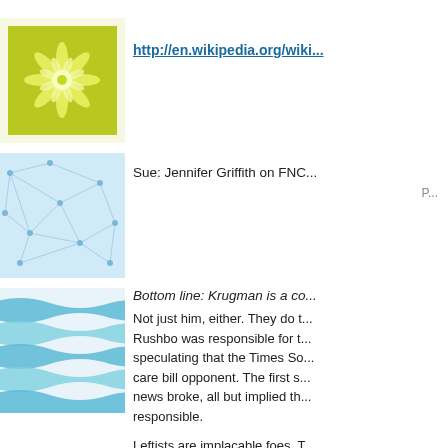[Figure (illustration): Green floral/snowflake decorative avatar image]
http://en.wikipedia.org/wiki...
[Figure (illustration): Light blue abstract network/web decorative avatar image]
Sue: Jennifer Griffith on FNC...
P...
[Figure (illustration): Blue wavy stripes decorative avatar image]
Bottom line: Krugman is a co...
Not just him, either. They do t... Rushbo was responsible for t... speculating that the Times So... care bill opponent. The first s... news broke, all but implied th... responsible.
Leftists are implacable foes. T... pass up an opportunity like th... people's minds that this guy w... skirmish; it doesn't matter wh...
P...